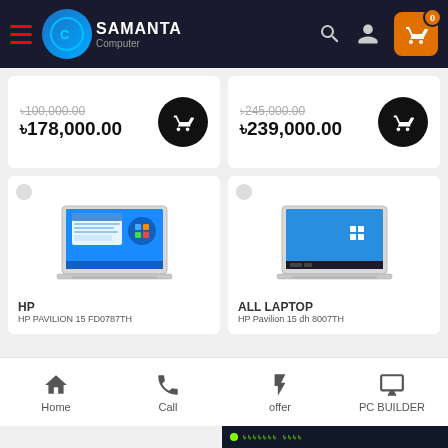Samanta Computer - navigation header with logo, search, user and cart icons
৳100,000.00 (strikethrough) ৳178,000.00
৳245,000.00 (strikethrough) ৳239,000.00
[Figure (photo): HP laptop product image showing Windows 11 desktop on screen, silver chassis]
HP
HP PAVILION 15 FD0787TH
[Figure (photo): HP laptop product image showing Windows 10 desktop on screen, silver chassis]
ALL LAPTOP
HP Pavilion 15 dh 8007TH
Home | Call | offer | PC BUILDER